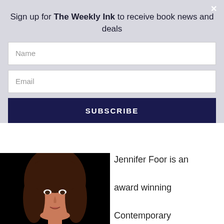Sign up for The Weekly Ink to receive book news and deals
Name
Email
SUBSCRIBE
[Figure (photo): Portrait photo of Jennifer Foor, a woman with brown hair, against a dark background]
Jennifer Foor is an award winning Contemporary